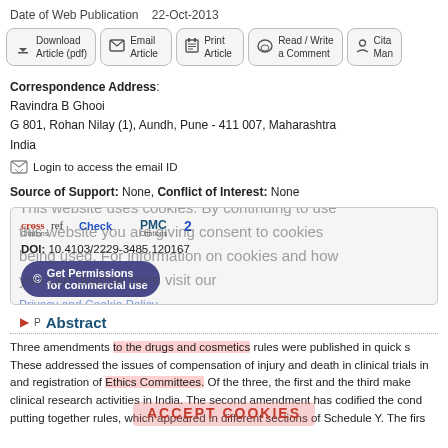Date of Web Publication   22-Oct-2013
[Figure (other): Row of action buttons: Download Article (pdf), Email Article, Print Article, Read/Write a Comment, Cite/Manage (partially visible)]
Correspondence Address:
Ravindra B Ghooi
G 801, Rohan Nilay (1), Aundh, Pune - 411 007, Maharashtra
India
Login to access the email ID
Source of Support: None, Conflict of Interest: None
[Figure (other): Citations block showing Crossref Check Citations and PMC 2 Citations, DOI: 10.4103/2229-3485.120167, Get Permissions for commercial use button, overlaid with cookie consent message]
Abstract
Three amendments to the drugs and cosmetics rules were published in quick s... These addressed the issues of compensation of injury and death in clinical trials in... and registration of Ethics Committees. Of the three, the first and the third make... clinical research activities in India. The second amendment has codified the cond... putting together rules, which appeared in different sections of Schedule Y. The fir...